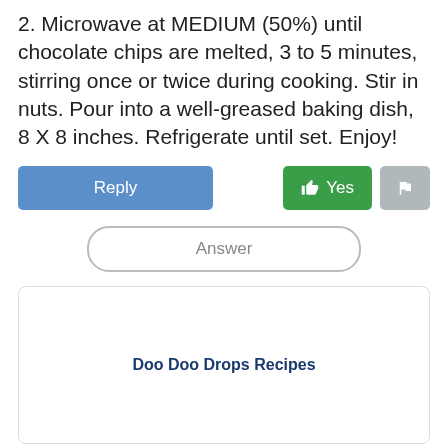2. Microwave at MEDIUM (50%) until chocolate chips are melted, 3 to 5 minutes, stirring once or twice during cooking. Stir in nuts. Pour into a well-greased baking dish, 8 X 8 inches. Refrigerate until set. Enjoy!
[Figure (screenshot): UI buttons row: Reply (blue), Yes with thumbs-up (green), Flag (gray)]
[Figure (screenshot): Answer button (rounded outline style)]
[Figure (screenshot): Card box with bold text: Doo Doo Drops Recipes]
Microwave Fudge Recipes
January 6, 2016